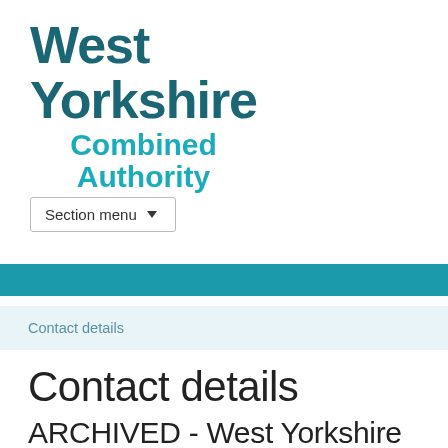[Figure (logo): West Yorkshire Combined Authority logo — bold teal text reading 'West Yorkshire' with lighter teal 'Combined Authority' below]
Section menu ▾
[Figure (other): Teal horizontal navigation bar]
Contact details
Contact details
ARCHIVED - West Yorkshire and York Investment